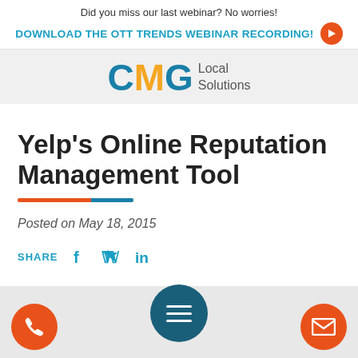Did you miss our last webinar? No worries!
DOWNLOAD THE OTT TRENDS WEBINAR RECORDING!
[Figure (logo): CMG Local Solutions logo with orange, blue, and gray colors]
Yelp's Online Reputation Management Tool
Posted on May 18, 2015
SHARE
[Figure (infographic): Bottom bar with phone call button (orange circle), hamburger menu (dark teal circle), and email button (orange circle)]